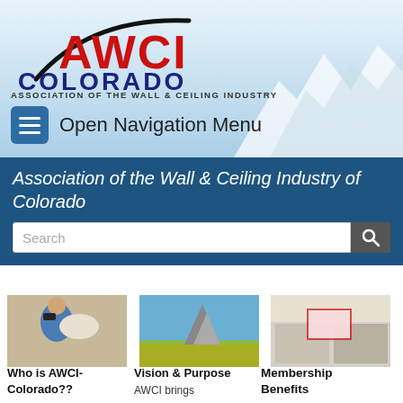[Figure (logo): AWCI Colorado logo with arc graphic - Association of the Wall & Ceiling Industry]
Open Navigation Menu
Association of the Wall & Ceiling Industry of Colorado
[Figure (screenshot): Search bar with magnifying glass icon]
[Figure (photo): Worker in blue shirt installing insulation]
Who is AWCI-Colorado??
[Figure (photo): Rocky mountain peak with autumn foliage]
Vision & Purpose
AWCI brings
[Figure (photo): Meeting room with people seated at tables, presentation board visible]
Membership Benefits